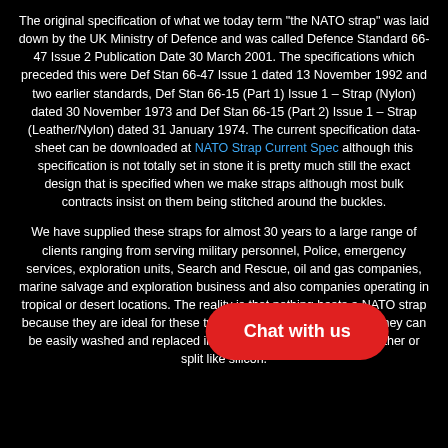The original specification of what we today term "the NATO strap" was laid down by the UK Ministry of Defence and was called Defence Standard 66-47 Issue 2 Publication Date 30 March 2001. The specifications which preceded this were Def Stan 66-47 Issue 1 dated 13 November 1992 and two earlier standards, Def Stan 66-15 (Part 1) Issue 1 – Strap (Nylon) dated 30 November 1973 and Def Stan 66-15 (Part 2) Issue 1 – Strap (Leather/Nylon) dated 31 January 1974. The current specification data-sheet can be downloaded at NATO Strap Current Spec although this specification is not totally set in stone it is pretty much still the exact design that is specified when we make straps although most bulk contracts insist on them being stitched around the buckles.
We have supplied these straps for almost 30 years to a large range of clients ranging from serving military personnel, Police, emergency services, exploration units, Search and Rescue, oil and gas companies, marine salvage and exploration business and also companies operating in tropical or desert locations. The reality is that nothing beats a NATO strap because they are ideal for these types of organizations because they can be easily washed and replaced in minutes and do not rot like leather or split like silicon.
[Figure (other): Red rounded rectangle button with white text 'Chat with us']